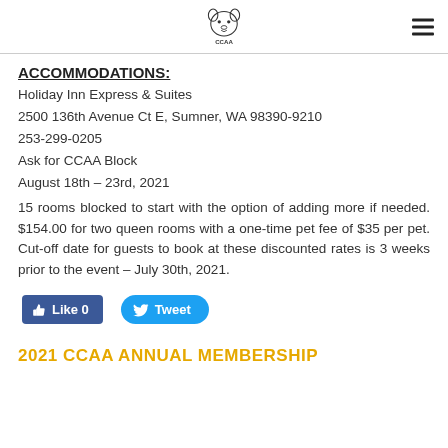CCAA logo and navigation
ACCOMMODATIONS:
Holiday Inn Express & Suites
2500 136th Avenue Ct E, Sumner, WA 98390-9210
253-299-0205
Ask for CCAA Block
August 18th – 23rd, 2021
15 rooms blocked to start with the option of adding more if needed. $154.00 for two queen rooms with a one-time pet fee of $35 per pet. Cut-off date for guests to book at these discounted rates is 3 weeks prior to the event – July 30th, 2021.
[Figure (other): Facebook Like button and Twitter Tweet button]
2021 CCAA ANNUAL MEMBERSHIP